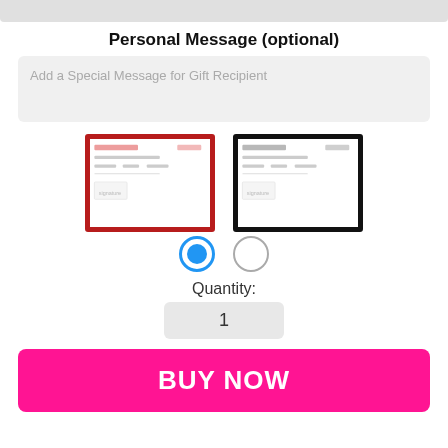Personal Message (optional)
Add a Special Message for Gift Recipient
[Figure (screenshot): Two gift certificate frame options side by side: left with red border (selected, radio button filled blue), right with black border (unselected, radio button empty). Below each frame is a radio button indicating selection.]
Quantity:
1
BUY NOW